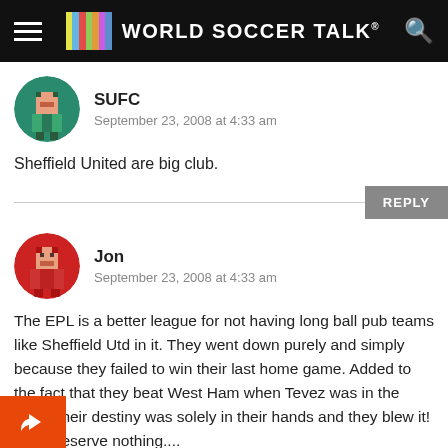WORLD SOCCER TALK
SUFC
September 23, 2008 at 4:33 am
Sheffield United are big club.
Jon
September 23, 2008 at 4:33 am
The EPL is a better league for not having long ball pub teams like Sheffield Utd in it. They went down purely and simply because they failed to win their last home game. Added to the fact that they beat West Ham when Tevez was in the team, their destiny was solely in their hands and they blew it! They deserve nothing....